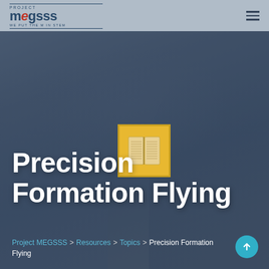[Figure (screenshot): Project MEGSSS educational website screenshot showing navigation bar with logo and hamburger menu, a hero section with a classroom photo background overlaid with dark blue tint, a book icon in yellow/gold box, large white text 'Precision Formation Flying', breadcrumb navigation, and cyan scroll-up button]
PROJECT MEGSSS — WE PUT THE M IN STEM
Precision Formation Flying
Project MEGSSS > [Resources] > [Topics] > Precision Formation Flying